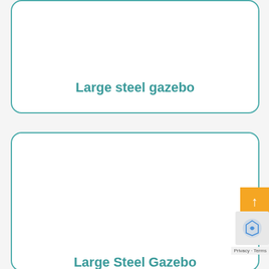[Figure (other): Product card with teal rounded border containing the label 'Large steel gazebo']
Large steel gazebo
[Figure (other): Second product card with teal rounded border, partially cut off, containing the label 'Large Steel Gazebo' partially visible at the bottom]
Large Steel Gazebo